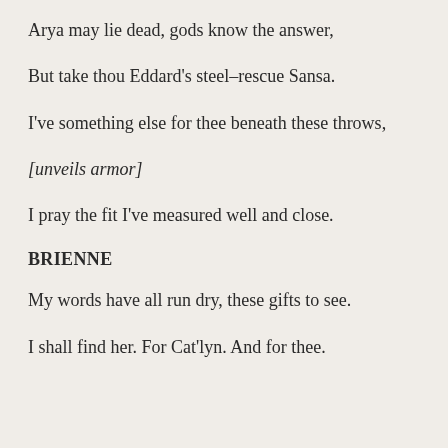Arya may lie dead, gods know the answer,
But take thou Eddard's steel–rescue Sansa.
I've something else for thee beneath these throws,
[unveils armor]
I pray the fit I've measured well and close.
BRIENNE
My words have all run dry, these gifts to see.
I shall find her. For Cat'lyn. And for thee.